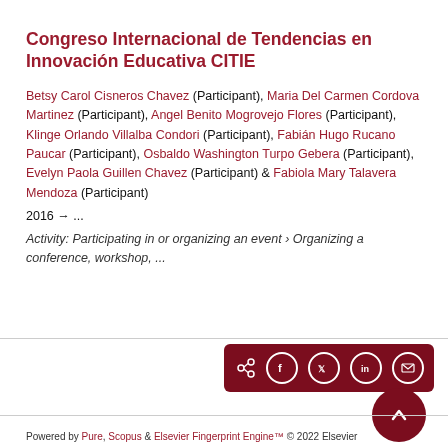Congreso Internacional de Tendencias en Innovación Educativa CITIE
Betsy Carol Cisneros Chavez (Participant), Maria Del Carmen Cordova Martinez (Participant), Angel Benito Mogrovejo Flores (Participant), Klinge Orlando Villalba Condori (Participant), Fabián Hugo Rucano Paucar (Participant), Osbaldo Washington Turpo Gebera (Participant), Evelyn Paola Guillen Chavez (Participant) & Fabiola Mary Talavera Mendoza (Participant)
2016 → ...
Activity: Participating in or organizing an event › Organizing a conference, workshop, ...
[Figure (infographic): Share buttons bar with icons for share, Facebook, Twitter, LinkedIn, and email on dark red background]
[Figure (infographic): Back to top button - dark red circle with upward chevron]
Powered by Pure, Scopus & Elsevier Fingerprint Engine™ © 2022 Elsevier